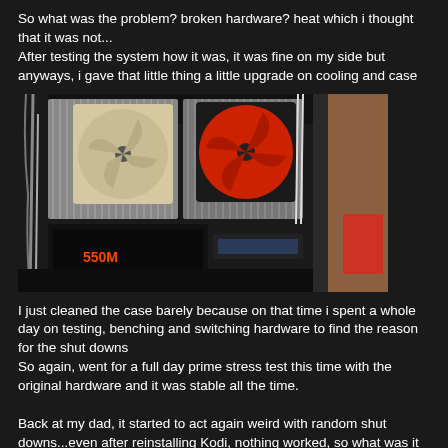So what was the problem? broken hardware? heat which i thought that it was not...
After testing the system how it was, it was fine on my side but anyways, i gave that little thing a little upgrade on cooling and case
[Figure (photo): Photo of a PC case interior showing large CPU coolers with fans (one with red blades), a power supply unit labeled 550M, cables, and PC components in a black case with visible side panel]
I just cleaned the case barely because on that time i spent a whole day on testing, benching and switching hardware to find the reason for the shut downs
So again, went for a full day prime stress test this time with the original hardware and it was stable all the time.

Back at my dad, it started to act again weird with random shut downs...even after reinstalling Kodi, nothing worked, so what was it then?
We have a quote in germany for such thing, it's called "Kleinvieh macht auch Mist" which means hardly translated "small livestock makes poop too"